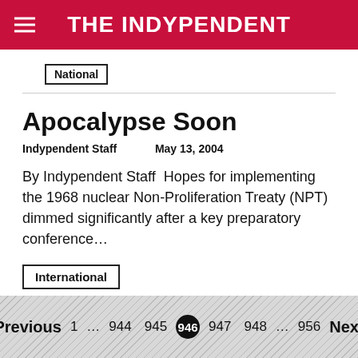THE INDYPENDENT
National
Apocalypse Soon
Indypendent Staff    May 13, 2004
By Indypendent Staff  Hopes for implementing the 1968 nuclear Non-Proliferation Treaty (NPT) dimmed significantly after a key preparatory conference…
International
Previous  1  ...  944  945  946  947  948  ...  956  Next